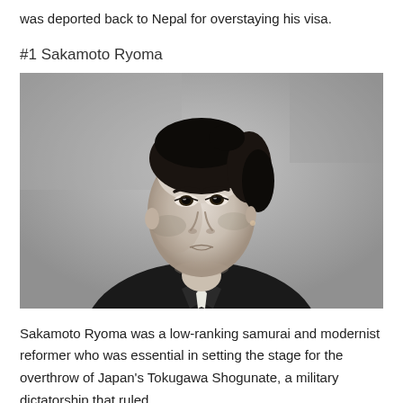was deported back to Nepal for overstaying his visa.
#1 Sakamoto Ryoma
[Figure (photo): Black and white historical portrait photograph of Sakamoto Ryoma, a young Japanese man with dark hair pulled back, wearing traditional Japanese clothing, looking slightly to the side with a serious expression.]
Sakamoto Ryoma was a low-ranking samurai and modernist reformer who was essential in setting the stage for the overthrow of Japan's Tokugawa Shogunate, a military dictatorship that ruled...